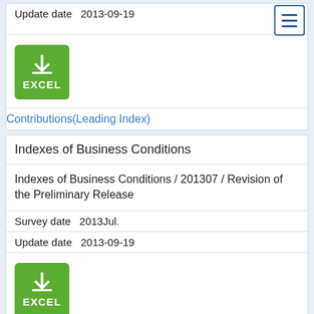Update date  2013-09-19
[Figure (other): Green Excel download button with download icon and EXCEL label]
Contributions(Leading Index)
Indexes of Business Conditions
Indexes of Business Conditions / 201307 / Revision of the Preliminary Release
Survey date  2013Jul.
Update date  2013-09-19
[Figure (other): Green Excel download button with download icon and EXCEL label]
Contributions(Coincident Index)
Indexes of Business Conditions